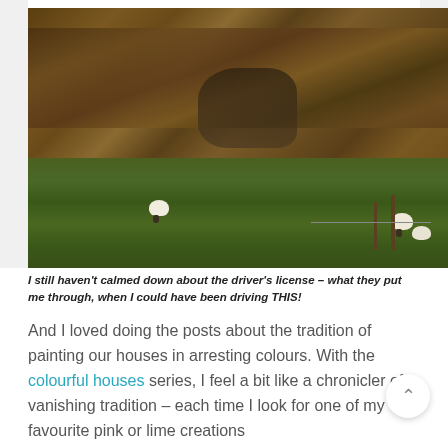[Figure (photo): A rugged hillside with brown rocky terrain and green grass in the lower portion. Several white sheep are visible grazing on the slope near the bottom, with fence posts visible on the right side.]
I still haven't calmed down about the driver's license – what they put me through, when I could have been driving THIS!
And I loved doing the posts about the tradition of painting our houses in arresting colours. With the colourful houses series, I feel a bit like a chronicler of a vanishing tradition – each time I look for one of my favourite pink or lime creations